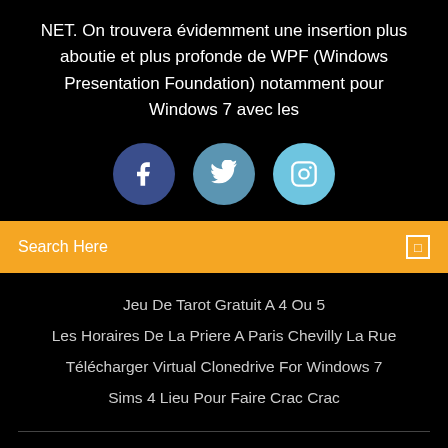NET. On trouvera évidemment une insertion plus aboutie et plus profonde de WPF (Windows Presentation Foundation) notamment pour Windows 7 avec les
[Figure (infographic): Three social media icons in circles: Facebook (dark blue), Twitter (medium blue), Instagram (light blue)]
Search Here
Jeu De Tarot Gratuit A 4 Ou 5
Les Horaires De La Priere A Paris Chevilly La Rue
Télécharger Virtual Clonedrive For Windows 7
Sims 4 Lieu Pour Faire Crac Crac
Copyright ©2022 All rights reserved | This template is made with ♡ by Colorlib